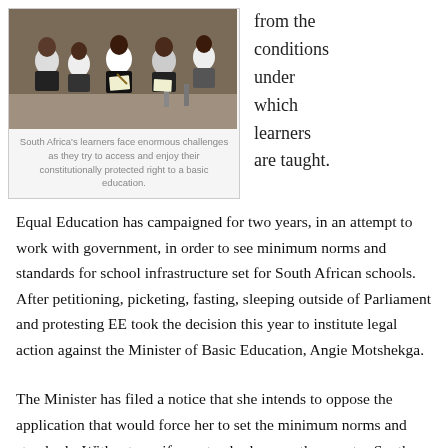[Figure (photo): Students sitting and writing, appearing to be in a basic school setting in South Africa]
South Africa's learners face enormous challenges as they try to access and enjoy their constitutionally protected right to a basic education.
from the conditions under which learners are taught. Equal Education has campaigned for two years, in an attempt to work with government, in order to see minimum norms and standards for school infrastructure set for South African schools. After petitioning, picketing, fasting, sleeping outside of Parliament and protesting EE took the decision this year to institute legal action against the Minister of Basic Education, Angie Motshekga.
The Minister has filed a notice that she intends to oppose the application that would force her to set the minimum norms and standards. Without a uniform standard across the country South Africa's education system, and the learners it produces, will continue to be defined by historical inequality. The court papers, supporting affidavits and response from the Minister can be found on our website